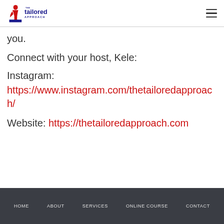The Tailored Approach — navigation header with logo and hamburger menu
you.
Connect with your host, Kele:
Instagram:
https://www.instagram.com/thetailoredapproach/
Website: https://thetailoredapproach.com
HOME   ABOUT   SERVICES   ONLINE COURSE   CONTACT